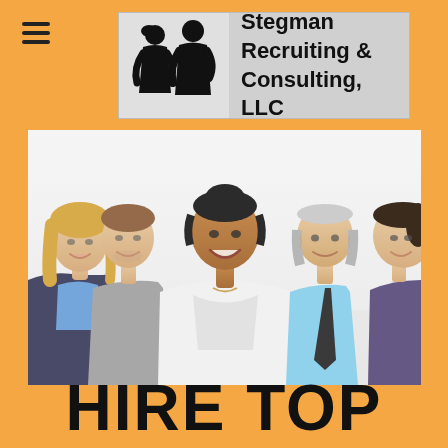[Figure (logo): Stegman Recruiting & Consulting, LLC logo with two silhouetted business figures and company name text]
[Figure (photo): Group photo of five smiling diverse business professionals standing together in a bright office setting]
HIRE TOP